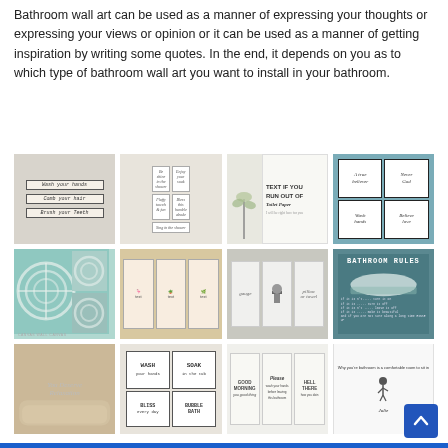Bathroom wall art can be used as a manner of expressing your thoughts or expressing your views or opinion or it can be used as a manner of getting inspiration by writing some quotes. In the end, it depends on you as to which type of bathroom wall art you want to install in your bathroom.
[Figure (photo): Bathroom wall art image 1: Three framed signs on a light wall reading Wash your hands, Comb your hair, Brush your Teeth]
[Figure (photo): Bathroom wall art image 2: Six small framed poster prints with text in grid layout]
[Figure (photo): Bathroom wall art image 3: Framed print reading TEXT IF YOU RUN OUT OF Toilet Paper with plant decoration]
[Figure (photo): Bathroom wall art image 4: Four framed black and white prints on teal/blue wall]
[Figure (photo): Bathroom wall art image 5: Teal flower canvas wall art with towels]
[Figure (photo): Bathroom wall art image 6: Three framed prints with animals and text in pink/tan tones]
[Figure (photo): Bathroom wall art image 7: Three white framed prints on gray brick wall with bathroom symbols]
[Figure (photo): Bathroom wall art image 8: Teal BATHROOM RULES vintage sign with white bathtub illustration]
[Figure (photo): Bathroom wall art image 9: Cursive wall decal reading You Deserve Relaxation on bathroom wall with tub]
[Figure (photo): Bathroom wall art image 10: Four framed signs including Wash, Soak, Bubble Bath text]
[Figure (photo): Bathroom wall art image 11: Three framed prints with Good Morning, Please, Hello text on white wall]
[Figure (photo): Bathroom wall art image 12: White framed print with humorous text and bird illustration]